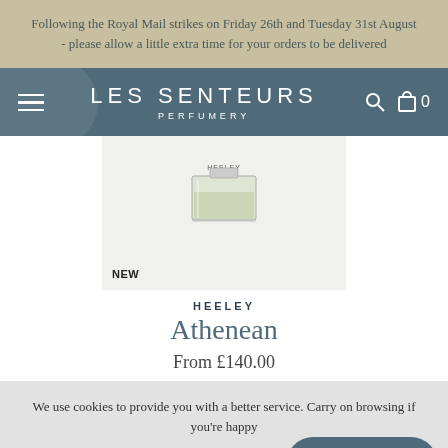Following the Royal Mail strikes on Friday 26th and Tuesday 31st August - please allow a little extra time for your orders to be delivered
LES SENTEURS PERFUMERY
[Figure (photo): Product image of Heeley Athenean perfume bottle in a light grey box, with NEW badge]
HEELEY
Athenean
From £140.00
We use cookies to provide you with a better service. Carry on browsing if you're happy
Got it!
Chat with us